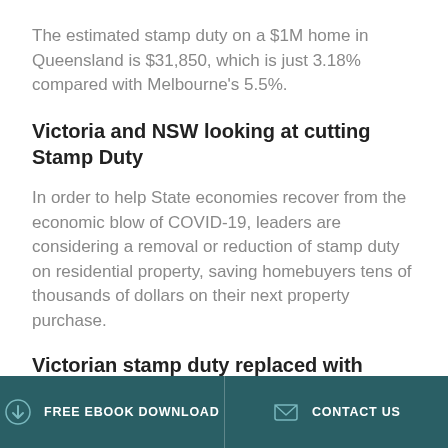The estimated stamp duty on a $1M home in Queensland is $31,850, which is just 3.18% compared with Melbourne's 5.5%.
Victoria and NSW looking at cutting Stamp Duty
In order to help State economies recover from the economic blow of COVID-19, leaders are considering a removal or reduction of stamp duty on residential property, saving homebuyers tens of thousands of dollars on their next property purchase.
Victorian stamp duty replaced with
FREE EBOOK DOWNLOAD   CONTACT US